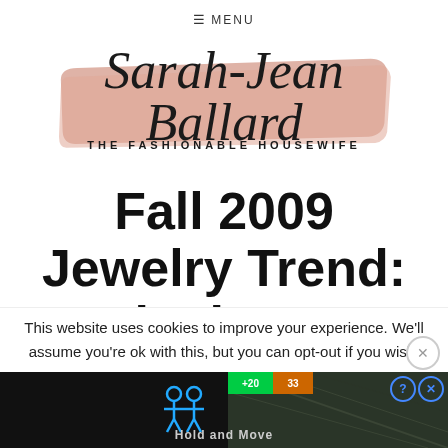≡ MENU
[Figure (logo): Sarah-Jean Ballard The Fashionable Housewife logo with pink/salmon brushstroke background and cursive script text]
Fall 2009 Jewelry Trend: Elephants
This website uses cookies to improve your experience. We'll assume you're ok with this, but you can opt-out if you wish.
[Figure (screenshot): Advertisement banner showing a game or app advertisement with dark background, person icons, green and orange score bars, Help and Close buttons, and Hold and Move text]